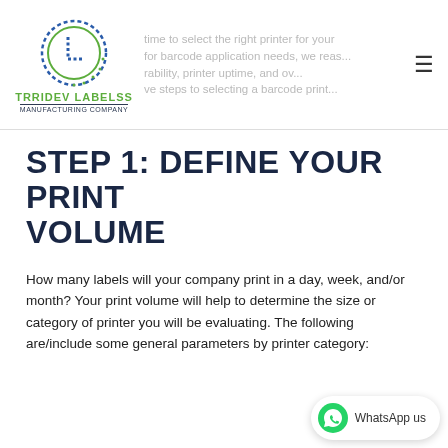[Figure (logo): Trridev Labelss Manufacturing Company logo — circular dotted 'L' shape in blue/green with company name below]
time to select the right printer for your for barcode application needs, we reas... ality, printer uptime, and ov... ve steps to selecting a barcode print...
STEP 1: DEFINE YOUR PRINT VOLUME
How many labels will your company print in a day, week, and/or month?  Your print volume will help to determine the size or category of printer you will be evaluating.  The following are/include some general parameters by printer category: